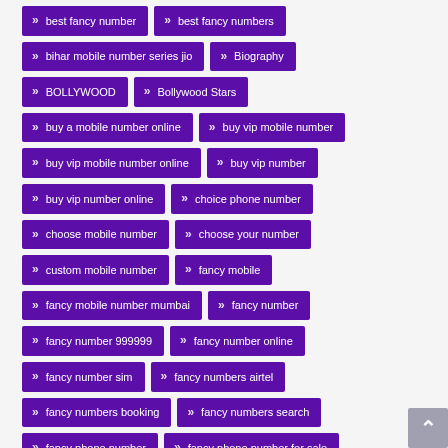best fancy number
best fancy numbers
bihar mobile number series jio
Biography
BOLLYWOOD
Bollywood Stars
buy a mobile number online
buy vip mobile number
buy vip mobile number online
buy vip number
buy vip number online
choice phone number
choose mobile number
choose your number
custom mobile number
fancy mobile
fancy mobile number mumbai
fancy number
fancy number 999999
fancy number online
fancy number sim
fancy numbers airtel
fancy numbers booking
fancy numbers search
fancy phone number
fancy phone number for sale
fancy phone numbers
golden mobile number
hindi